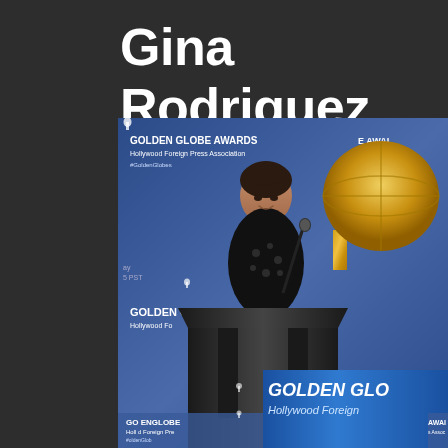Gina Rodriguez up...
[Figure (photo): A woman (Gina Rodriguez) standing at a podium/lectern at a Golden Globe Awards nomination announcement event. Behind her is a large golden Golden Globe trophy. Multiple Golden Globe Awards / Hollywood Foreign Press Association banners and signage are visible in the background and on the podium. A microphone is in front of her. She is wearing a dark patterned outfit.]